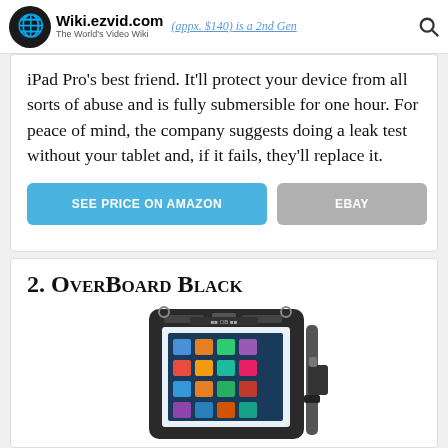Wiki.ezvid.com - The World's Video Wiki
iPad Pro's best friend. It'll protect your device from all sorts of abuse and is fully submersible for one hour. For peace of mind, the company suggests doing a leak test without your tablet and, if it fails, they'll replace it.
2. OverBoard Black
[Figure (photo): OverBoard Black waterproof tablet case holding an iPad, with shoulder strap visible on the right side.]